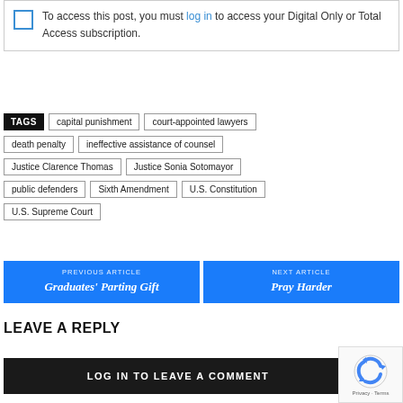To access this post, you must log in to access your Digital Only or Total Access subscription.
TAGS: capital punishment, court-appointed lawyers, death penalty, ineffective assistance of counsel, Justice Clarence Thomas, Justice Sonia Sotomayor, public defenders, Sixth Amendment, U.S. Constitution, U.S. Supreme Court
PREVIOUS ARTICLE: Graduates' Parting Gift
NEXT ARTICLE: Pray Harder
LEAVE A REPLY
LOG IN TO LEAVE A COMMENT